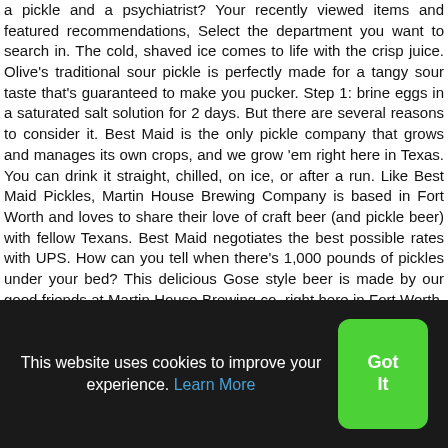a pickle and a psychiatrist? Your recently viewed items and featured recommendations, Select the department you want to search in. The cold, shaved ice comes to life with the crisp juice. Olive's traditional sour pickle is perfectly made for a tangy sour taste that's guaranteed to make you pucker. Step 1: brine eggs in a saturated salt solution for 2 days. But there are several reasons to consider it. Best Maid is the only pickle company that grows and manages its own crops, and we grow 'em right here in Texas. You can drink it straight, chilled, on ice, or after a run. Like Best Maid Pickles, Martin House Brewing Company is based in Fort Worth and loves to share their love of craft beer (and pickle beer) with fellow Texans. Best Maid negotiates the best possible rates with UPS. How can you tell when there's 1,000 pounds of pickles under your bed? This delicious Gose style beer is made by our good friends at Martin House Brewing co. right here in Fort Worth, Texas. Is this feature helpful? Amazon.com: Martin House,
This website uses cookies to improve your experience. Learn More
Got It